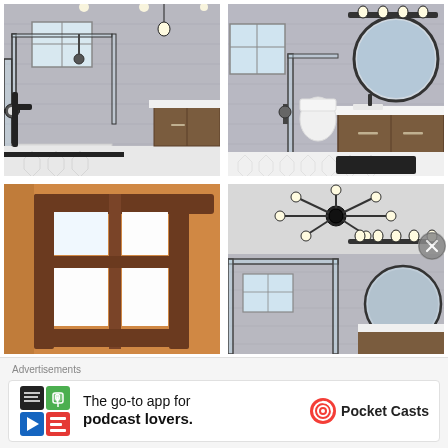[Figure (photo): Modern bathroom with glass shower enclosure, grey tile walls, black fixtures, wooden vanity cabinet, and recessed lighting viewed from inside]
[Figure (photo): Modern bathroom with round mirror, wooden floating vanity, glass shower, hexagonal white floor tiles, and black matte bar light fixture]
[Figure (photo): Close-up of a wooden sliding barn door or screen frame with frosted white panel inserts against warm orange/tan wall]
[Figure (photo): Modern bathroom ceiling view with black sputnik chandelier, glass shower enclosure, round mirror, and grey tile walls]
Advertisements
[Figure (illustration): Pocket Casts podcast app advertisement: colorful app icon on left, text 'The go-to app for podcast lovers.' in center, Pocket Casts logo on right]